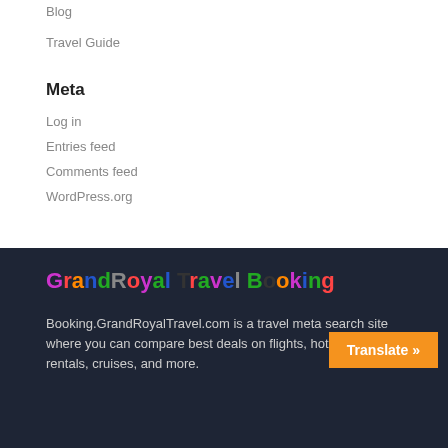Blog
Travel Guide
Meta
Log in
Entries feed
Comments feed
WordPress.org
[Figure (logo): GrandRoyal Travel Booking logo with multicolored letters on dark background]
Booking.GrandRoyalTravel.com is a travel meta search site where you can compare best deals on flights, hotels, car rentals, cruises, and more.